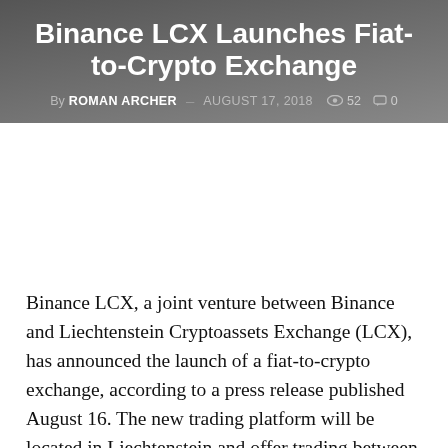Binance LCX Launches Fiat-to-Crypto Exchange
By ROMAN ARCHER  AUGUST 17, 2018  👁 52  💬 0
Binance LCX, a joint venture between Binance and Liechtenstein Cryptoassets Exchange (LCX), has announced the launch of a fiat-to-crypto exchange, according to a press release published August 16. The new trading platform will be located in Liechtenstein and offer trading between Swiss